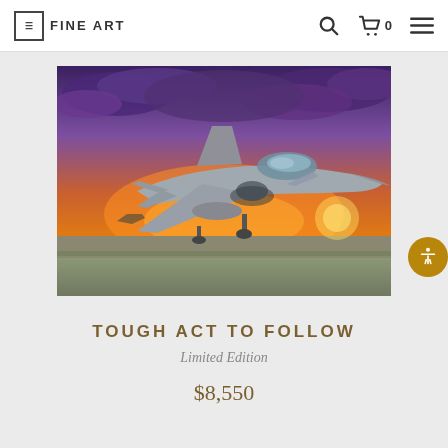FINE ART
[Figure (photo): F-16 fighter jet on a runway at sunset with dramatic purple and orange sky]
TOUGH ACT TO FOLLOW
Limited Edition
$8,550